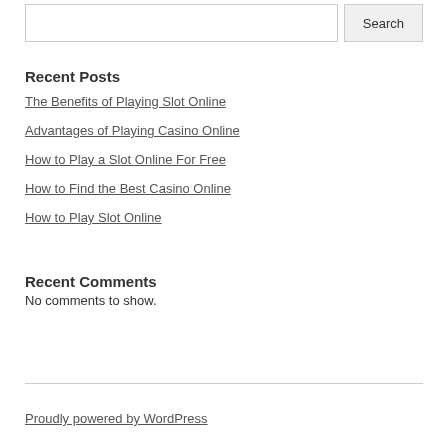Search input and button
Recent Posts
The Benefits of Playing Slot Online
Advantages of Playing Casino Online
How to Play a Slot Online For Free
How to Find the Best Casino Online
How to Play Slot Online
Recent Comments
No comments to show.
Proudly powered by WordPress